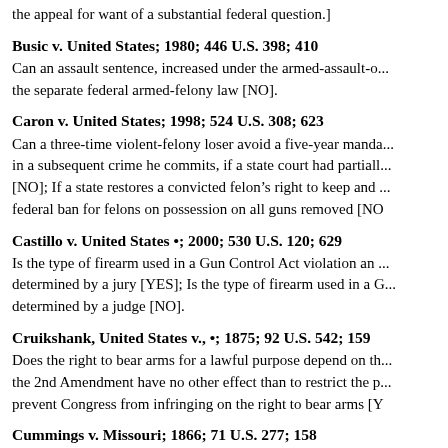the appeal for want of a substantial federal question.]
Busic v. United States; 1980; 446 U.S. 398; 410
Can an assault sentence, increased under the armed-assault-o... the separate federal armed-felony law [NO].
Caron v. United States; 1998; 524 U.S. 308; 623
Can a three-time violent-felony loser avoid a five-year manda... in a subsequent crime he commits, if a state court had partiall... [NO]; If a state restores a convicted felon's right to keep and ... federal ban for felons on possession on all guns removed [NO
Castillo v. United States •; 2000; 530 U.S. 120; 629
Is the type of firearm used in a Gun Control Act violation an ... determined by a jury [YES]; Is the type of firearm used in a G... determined by a judge [NO].
Cruikshank, United States v., •; 1875; 92 U.S. 542; 159
Does the right to bear arms for a lawful purpose depend on th... the 2nd Amendment have no other effect than to restrict the p... prevent Congress from infringing on the right to bear arms [Y
Cummings v. Missouri; 1866; 71 U.S. 277; 158
Is deprivation or suspension of a person's civil rights, includi... punishment [YES].